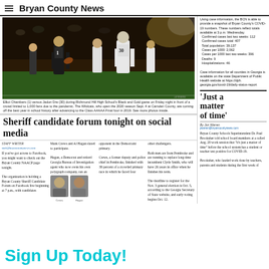Bryan County News
[Figure (photo): Football game action photo: player in black uniform carrying ball against player in white uniform number 30, referees and crowd in background. Richmond Hill High School Black and Gold game.]
Elliot Chambers (1) versus Jadon Dre (30) during Richmond Hill High School's Black and Gold game on Friday night in front of a crowd limited to 1,000 fans due to the pandemic. The Wildcats, who open the 2020 season Sept. 4 at Camden County, are coming off the best year in school history after advancing to the Class AAAAA Final four in 2019. See more photos inside.
Sheriff candidate forum tonight on social media
If you've got access to Facebook, you might want to check out the Bryan County NAACP page tonight. The organization is holding a Bryan County Sheriff Candidate Forum on Facebook live beginning at 7 p.m., with candidates Mark Crews and Al Hagan slated to participate. Hagan, a Democrat and retired Georgia Bureau of Investigation agent who now owns his own polygraph company, ran an opponent in the Democratic primary. Crews, a former deputy and police chief in Pembroke, finished with 39 percent of a crowded primary race in which he faced four other challengers. Both men are from Pembroke and are running to replace long-time incumbent Clyde Smith, who will have 26 years in office when he finishes his term. The deadline to register for the Nov. 3 general election is Oct. 5, according to the Georgia Secretary of State website, and early voting begins Oct. 12.
[Figure (photo): Headshot photo of candidate Crews]
[Figure (photo): Headshot photo of candidate Hagan]
Using case information, the BCN is able to provide a snapshot of Bryan County's COVID-19 numbers. These numbers reflect totals available at 3 p.m. Wednesday. Confirmed cases last two weeks: 112. Confirmed cases total: 407. Total population: 39,137. Cases per 1000: 2,062. Cases per 1000 last two weeks: 396. Deaths: 9. Hospitalizations: 46. Case information for all counties in Georgia is available on the state Department of Public Health website at https://dph.georgia.gov/covid-19/daily-status-report
'Just a matter of time'
Bryan County Schools Superintendent Dr. Paul Brooksher told school board members at a called Aug. 20 work session that 'it's just a matter of time' before the school system has a student or teacher test positive for COVID-19. Brooksher, who lauded work done by teachers, parents and students during the first week of
Sign Up Today!